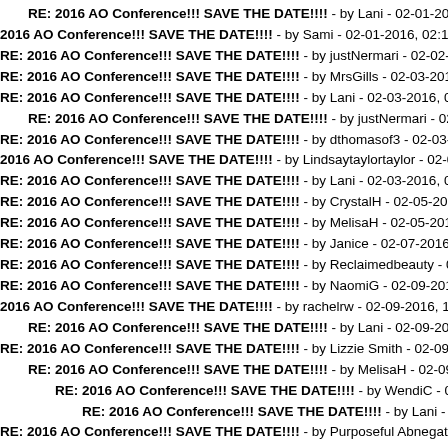RE: 2016 AO Conference!!! SAVE THE DATE!!!! - by Lani - 02-01-2016, 03:...
2016 AO Conference!!! SAVE THE DATE!!!! - by Sami - 02-01-2016, 02:15 AM
RE: 2016 AO Conference!!! SAVE THE DATE!!!! - by justNermari - 02-02-201...
RE: 2016 AO Conference!!! SAVE THE DATE!!!! - by MrsGills - 02-03-2016, 0...
RE: 2016 AO Conference!!! SAVE THE DATE!!!! - by Lani - 02-03-2016, 02:23...
RE: 2016 AO Conference!!! SAVE THE DATE!!!! - by justNermari - 02-03-2...
RE: 2016 AO Conference!!! SAVE THE DATE!!!! - by dthomasof3 - 02-03-201...
2016 AO Conference!!! SAVE THE DATE!!!! - by Lindsaytaylortaylor - 02-03-20...
RE: 2016 AO Conference!!! SAVE THE DATE!!!! - by Lani - 02-03-2016, 08:53...
RE: 2016 AO Conference!!! SAVE THE DATE!!!! - by CrystalH - 02-05-2016, 0...
RE: 2016 AO Conference!!! SAVE THE DATE!!!! - by MelisaH - 02-05-2016, 0...
RE: 2016 AO Conference!!! SAVE THE DATE!!!! - by Janice - 02-07-2016, 12...
RE: 2016 AO Conference!!! SAVE THE DATE!!!! - by Reclaimedbeauty - 02-0...
RE: 2016 AO Conference!!! SAVE THE DATE!!!! - by NaomiG - 02-09-2016, 1...
2016 AO Conference!!! SAVE THE DATE!!!! - by rachelrw - 02-09-2016, 11:07...
RE: 2016 AO Conference!!! SAVE THE DATE!!!! - by Lani - 02-09-2016, 11:...
RE: 2016 AO Conference!!! SAVE THE DATE!!!! - by Lizzie Smith - 02-09-201...
RE: 2016 AO Conference!!! SAVE THE DATE!!!! - by MelisaH - 02-09-2016,...
RE: 2016 AO Conference!!! SAVE THE DATE!!!! - by WendiC - 02-09-2016,...
RE: 2016 AO Conference!!! SAVE THE DATE!!!! - by Lani - 02-09-2016,...
RE: 2016 AO Conference!!! SAVE THE DATE!!!! - by Purposeful Abnegation -...
RE: 2016 AO Conference!!! SAVE THE DATE!!!! - by lklivingston - 02-09-2016...
RE: 2016 AO Conference!!! SAVE THE DATE!!!! - by Lani - 02-09-2016, 12:33...
RE: 2016 AO Conference!!! SAVE THE DATE!!!! - by andimcbee - 02-09-2016...
2016 AO Conference!!! SAVE THE DATE!!!! - by Lindsaytaylortaylor - 02-09-...